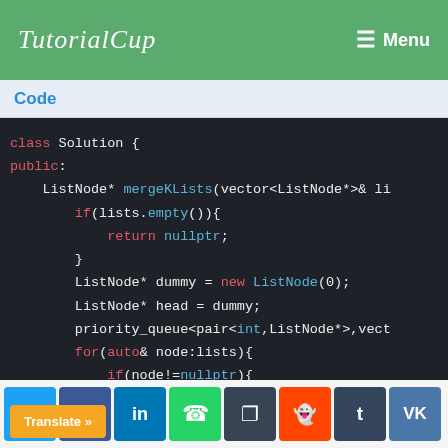TutorialCup  Menu
Code
[Figure (screenshot): C++ code block showing class Solution with mergeKLists method using priority_queue, including if-empty check, dummy node, head pointer, and for-loop pushing nodes to priority queue, and while loop beginning.]
Translate » [social share buttons: Twitter, Facebook, LinkedIn, WhatsApp, Buffer, Reddit, Tumblr, VK]